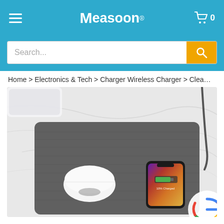Measoon®
Search...
Home > Electronics & Tech > Charger Wireless Charger > Clea…
[Figure (photo): Product photo of a dark gray wood-grain mouse pad with built-in wireless charger. A white Apple Magic Mouse sits on the left side, and an iPhone X showing '10% Charged' is placed on the right side. A USB cable exits from the upper-right corner. A partial Google 'G' logo is visible on the lower right. The pad rests on a white marble surface.]